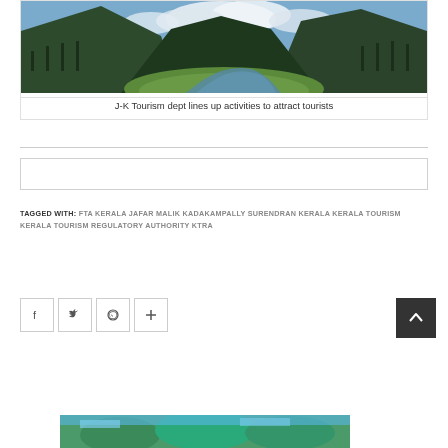[Figure (photo): Mountain valley landscape with river, green meadows, pine forests and cloudy sky]
J-K Tourism dept lines up activities to attract tourists
[Figure (other): Empty bordered rectangle]
TAGGED WITH: FTA KERALA  JAFAR MALIK  KADAKAMPALLY SURENDRAN  KERALA  KERALA TOURISM  KERALA TOURISM REGULATORY AUTHORITY  KTRA
[Figure (other): Social share buttons: Facebook, Twitter, WhatsApp, Plus/More]
[Figure (photo): Partial image visible at bottom of page]